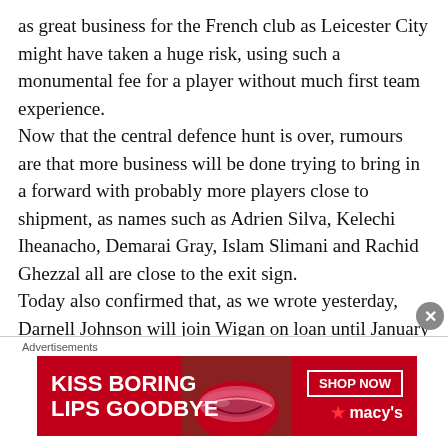as great business for the French club as Leicester City might have taken a huge risk, using such a monumental fee for a player without much first team experience.
Now that the central defence hunt is over, rumours are that more business will be done trying to bring in a forward with probably more players close to shipment, as names such as Adrien Silva, Kelechi Iheanacho, Demarai Gray, Islam Slimani and Rachid Ghezzal all are close to the exit sign.
Today also confirmed that, as we wrote yesterday, Darnell Johnson will join Wigan on loan until January 2021, though we believed the player would go out
Advertisements
[Figure (photo): Advertisement banner for Macy's lipstick product with text 'KISS BORING LIPS GOODBYE', a photo of lips, a 'SHOP NOW' button, and the Macy's star logo.]